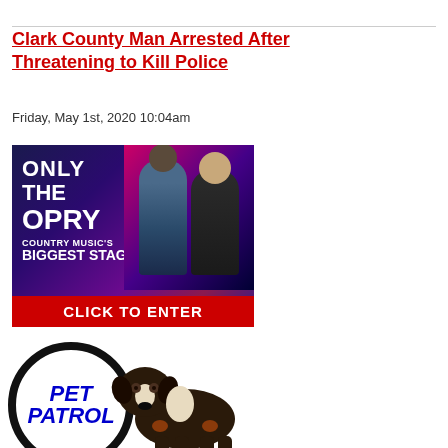Clark County Man Arrested After Threatening to Kill Police
Friday, May 1st, 2020 10:04am
[Figure (photo): Advertisement for Grand Ole Opry — shows two singers performing with microphones against a purple/pink stage backdrop. Text reads: ONLY THE OPRY COUNTRY MUSIC'S BIGGEST STAGE CLICK TO ENTER]
[Figure (illustration): Pet Patrol logo — magnifying glass graphic with the text PET PATROL in blue bold italic, alongside a Bernese Mountain dog photo]